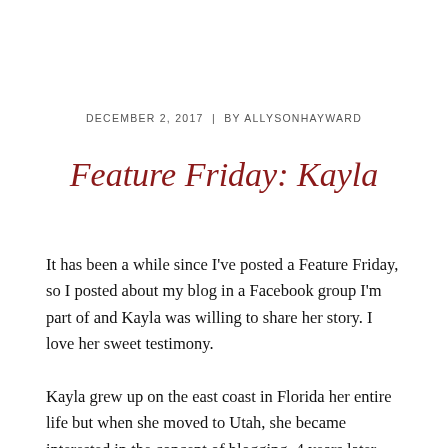DECEMBER 2, 2017  |  BY ALLYSONHAYWARD
Feature Friday: Kayla
It has been a while since I've posted a Feature Friday, so I posted about my blog in a Facebook group I'm part of and Kayla was willing to share her story. I love her sweet testimony.
Kayla grew up on the east coast in Florida her entire life but when she moved to Utah, she became interested in the concept of blogging. 4 years later, she started her